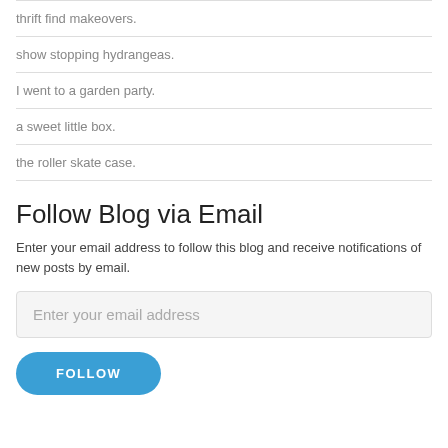thrift find makeovers.
show stopping hydrangeas.
I went to a garden party.
a sweet little box.
the roller skate case.
Follow Blog via Email
Enter your email address to follow this blog and receive notifications of new posts by email.
Enter your email address
FOLLOW